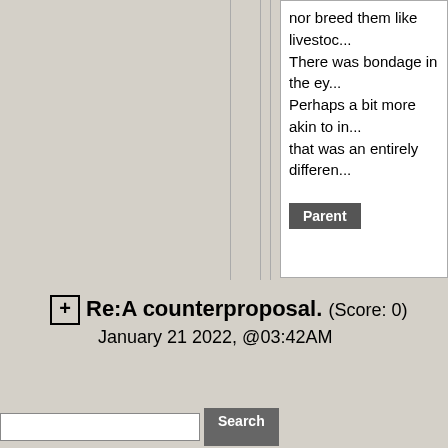nor breed them like livestock.

There was bondage in the eyes. Perhaps a bit more akin to in... that was an entirely differen...
Parent
Re:A counterproposal. (Score: 0)
January 21 2022, @03:42AM
Moderator Help
Search
Home | About | FAQ | Journals | Topics | Buy Gift Sub | Create Account
Privacy Policy: We don't track anyone except on... relevant and are ignored. We don't collect any p... you except your email address, which: you can c... in the first place, is only used to contact you if n... with nobody.